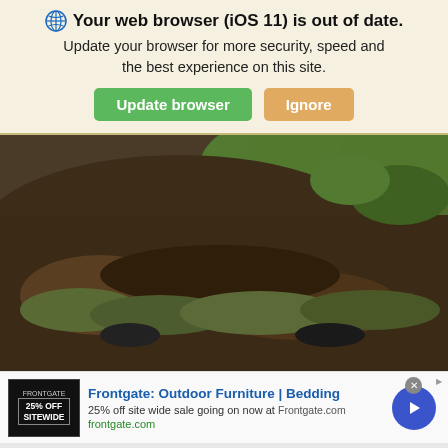🌐 Your web browser (iOS 11) is out of date. Update your browser for more security, speed and the best experience on this site.
Update browser | Ignore
[Figure (photo): Photograph showing soldiers in camouflage uniforms lying on the ground near a dirt embankment with green grass in the background.]
Frontgate: Outdoor Furniture | Bedding
25% off site wide sale going on now at Frontgate.com
frontgate.com